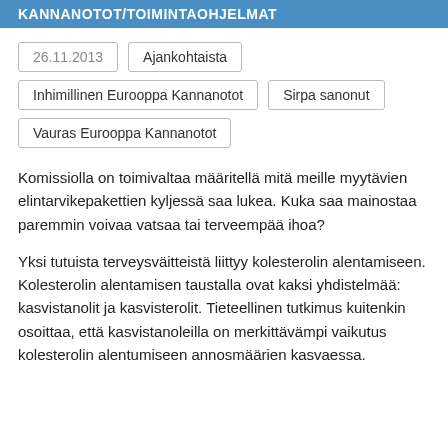KANNANOTOT/TOIMINTAOHJELMAT
26.11.2013
Ajankohtaista
Inhimillinen Eurooppa Kannanotot
Sirpa sanonut
Vauras Eurooppa Kannanotot
Komissiolla on toimivaltaa määritellä mitä meille myytävien elintarvikepakettien kyljessä saa lukea. Kuka saa mainostaa paremmin voivaa vatsaa tai terveempää ihoa?
Yksi tutuista terveysväitteistä liittyy kolesterolin alentamiseen. Kolesterolin alentamisen taustalla ovat kaksi yhdistelmää: kasvistanolit ja kasvisterolit. Tieteellinen tutkimus kuitenkin osoittaa, että kasvistanoleilla on merkittävämpi vaikutus kolesterolin alentumiseen annosmäärien kasvaessa.